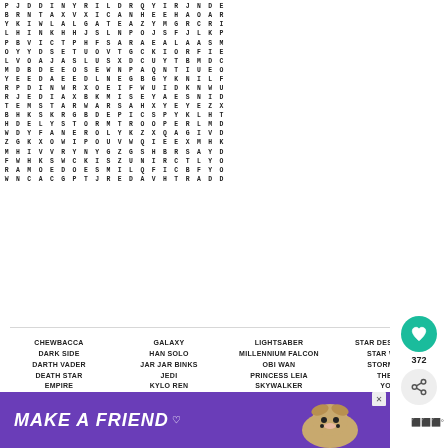[Figure (other): Star Wars themed word search puzzle grid with 21 rows of capital letters in monospace bold font]
CHEWBACCA  GALAXY  LIGHTSABER  STAR DESTROYER
DARK SIDE  HAN SOLO  MILLENNIUM FALCON  STAR WARS
DARTH VADER  JAR JAR BINKS  OBI WAN  STORMTROOPER
DEATH STAR  JEDI  PRINCESS LEIA  THE ...
EMPIRE  KYLO REN  SKYWALKER  YO...
[Figure (infographic): Purple advertisement banner reading MAKE A FRIEND with a dog image]